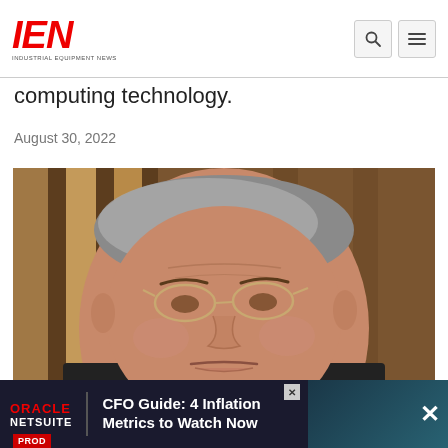IEN — INDUSTRIAL EQUIPMENT NEWS
computing technology.
August 30, 2022
[Figure (photo): Close-up portrait of an elderly Asian man wearing glasses, with a serious expression, against a blurred background of vertical brown/amber objects.]
[Figure (other): Advertisement banner: Oracle NetSuite — CFO Guide: 4 Inflation Metrics to Watch Now]